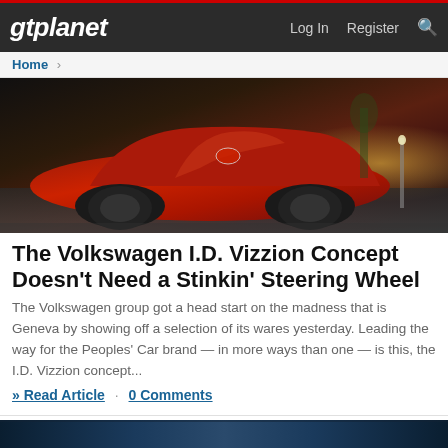gtplanet | Log In  Register
Home >
[Figure (photo): Red Volkswagen I.D. Vizzion concept car photographed at an angle from the front-left, with warm sunset lighting in the background]
The Volkswagen I.D. Vizzion Concept Doesn't Need a Stinkin' Steering Wheel
The Volkswagen group got a head start on the madness that is Geneva by showing off a selection of its wares yesterday. Leading the way for the Peoples' Car brand — in more ways than one — is this, the I.D. Vizzion concept...
» Read Article · 0 Comments
Kyle Patrick
Nov 7, 2017 · News Article
[Figure (photo): Bottom strip showing partial image, appears to be a darker blue-toned vehicle or scene]